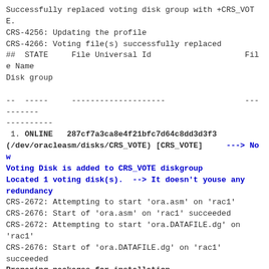Successfully replaced voting disk group with +CRS_VOTE.
CRS-4256: Updating the profile
CRS-4266: Voting file(s) successfully replaced
##  STATE     File Universal Id                    File Name Disk group

--  -----     --------------------                 ----------
----------
 1. ONLINE   287cf7a3ca8e4f21bfc7d64c8dd3d3f3
(/dev/oracleasm/disks/CRS_VOTE) [CRS_VOTE]     ---> Now Voting Disk is added to CRS_VOTE diskgroup
Located 1 voting disk(s).  --> It doesn't youse any redundancy
CRS-2672: Attempting to start 'ora.asm' on 'rac1'
CRS-2676: Start of 'ora.asm' on 'rac1' succeeded
CRS-2672: Attempting to start 'ora.DATAFILE.dg' on 'rac1'
CRS-2676: Start of 'ora.DATAFILE.dg' on 'rac1' succeeded
Preparing packages for installation...
cvuqdisk-1.0.9-1
Configure Oracle Grid Infrastructure for a Cluster ... succeeded